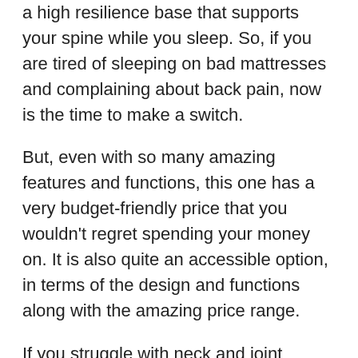a high resilience base that supports your spine while you sleep. So, if you are tired of sleeping on bad mattresses and complaining about back pain, now is the time to make a switch.
But, even with so many amazing features and functions, this one has a very budget-friendly price that you wouldn't regret spending your money on. It is also quite an accessible option, in terms of the design and functions along with the amazing price range.
If you struggle with neck and joint problems, inflammation, and pain, this mattress provides with all that you need. The high resilience foam allows for a very comfortable sleep without causing issues with your health, especially for those